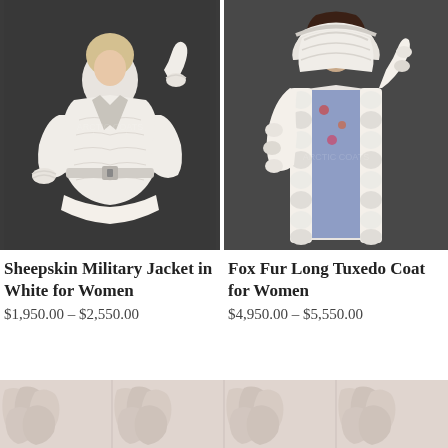[Figure (photo): Sheepskin Military Jacket in White for Women on dark gray background]
Sheepskin Military Jacket in White for Women
$1,950.00 – $2,550.00
[Figure (photo): Fox Fur Long Tuxedo Coat for Women on dark gray background]
Fox Fur Long Tuxedo Coat for Women
$4,950.00 – $5,550.00
[Figure (photo): Bottom strip showing repeated fur texture pattern in light pink/beige tones]